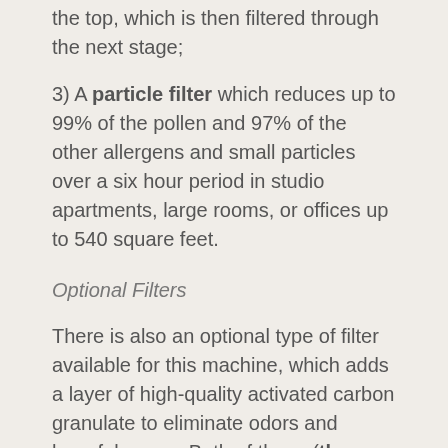the top, which is then filtered through the next stage;
3) A particle filter which reduces up to 99% of the pollen and 97% of the other allergens and small particles over a six hour period in studio apartments, large rooms, or offices up to 540 square feet.
Optional Filters
There is also an optional type of filter available for this machine, which adds a layer of high-quality activated carbon granulate to eliminate odors and harmful gases. Both of these (the H300 POLLEN and H300 COMFORT filters) last about a year with